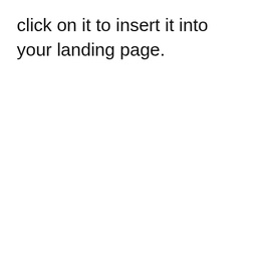click on it to insert it into your landing page.